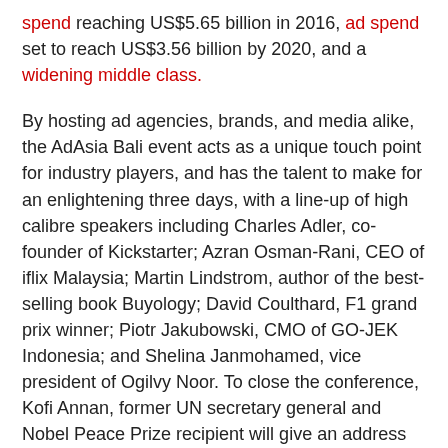spend reaching US$5.65 billion in 2016, ad spend set to reach US$3.56 billion by 2020, and a widening middle class.
By hosting ad agencies, brands, and media alike, the AdAsia Bali event acts as a unique touch point for industry players, and has the talent to make for an enlightening three days, with a line-up of high calibre speakers including Charles Adler, co-founder of Kickstarter; Azran Osman-Rani, CEO of iflix Malaysia; Martin Lindstrom, author of the best-selling book Buyology; David Coulthard, F1 grand prix winner; Piotr Jakubowski, CMO of GO-JEK Indonesia; and Shelina Janmohamed, vice president of Ogilvy Noor. To close the conference, Kofi Annan, former UN secretary general and Nobel Peace Prize recipient will give an address on how businesses can help to lead positive change.
Experts will delve into pressing subjects like technological breakthroughs, the importance of creative enterprising, digital implementation and effective marketing—all with a distinct emphasis on the Asia-Pacific region under the